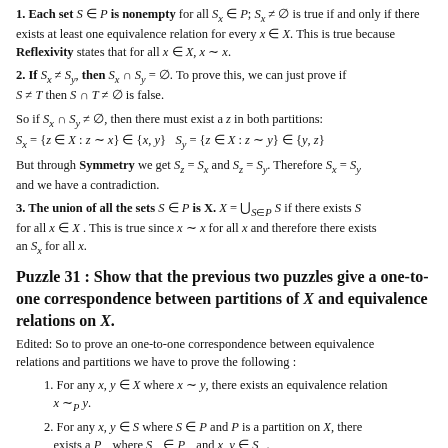1. Each set S ∈ P is nonempty for all S_x ∈ P; S_x ≠ ∅ is true if and only if there exists at least one equivalence relation for every x ∈ X. This is true because Reflexivity states that for all x ∈ X, x ~ x.
2. If S_x ≠ S_y, then S_x ∩ S_y = ∅. To prove this, we can just prove if S ≠ T then S ∩ T ≠ ∅ is false.
So if S_x ∩ S_y ≠ ∅, then there must exist a z in both partitions: S_x = {z ∈ X : z ~ x} ∈ {x, y}  S_y = {z ∈ X : z ~ y} ∈ {y, z}
But through Symmetry we get S_z = S_x and S_z = S_y. Therefore S_x = S_y and we have a contradiction.
3. The union of all the sets S ∈ P is X. X = ∪_{S∈P} S if there exists S for all x ∈ X. This is true since x ~ x for all x and therefore there exists an S_x for all x.
Puzzle 31 : Show that the previous two puzzles give a one-to-one correspondence between partitions of X and equivalence relations on X.
Edited: So to prove an one-to-one correspondence between equivalence relations and partitions we have to prove the following :
1. For any x, y ∈ X where x ~ y, there exists an equivalence relation x ~_P y.
2. For any x, y ∈ S where S ∈ P and P is a partition on X, there exists a P_ where S_ ∈ P_ and x, y ∈ S_.